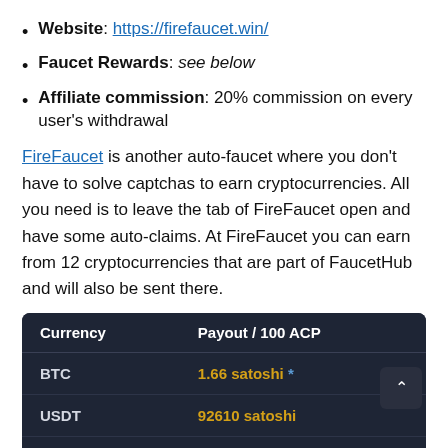Website: https://firefaucet.win/
Faucet Rewards: see below
Affiliate commission: 20% commission on every user's withdrawal
FireFaucet is another auto-faucet where you don't have to solve captchas to earn cryptocurrencies. All you need is to leave the tab of FireFaucet open and have some auto-claims. At FireFaucet you can earn from 12 cryptocurrencies that are part of FaucetHub and will also be sent there.
| Currency | Payout / 100 ACP |
| --- | --- |
| BTC | 1.66 satoshi * |
| USDT | 92610 satoshi |
| ETH | 54 satoshi |